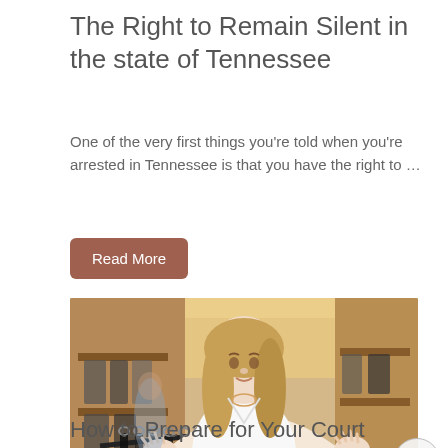The Right to Remain Silent in the state of Tennessee
One of the very first things you're told when you're arrested in Tennessee is that you have the right to …
Read More
[Figure (photo): Woman in a white blouse standing in a clothing store, shrugging with both hands raised, with shelves of clothing visible in the background. A watermark reading 'Nashville' appears in the lower right corner of the image.]
How to Prepare for Your Court